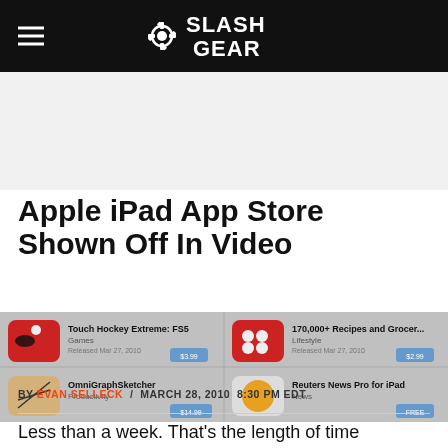SlashGear
Apple iPad App Store Shown Off In Video
[Figure (screenshot): Screenshot of Apple iPad App Store showing app listings including Touch Hockey Extreme: FS5, 170,000+ Recipes and Grocer..., OmniGraphSketcher, and Reuters News Pro for iPad]
BY EVAN SELLECK / MARCH 28, 2010 8:30 PM EDT
Less than a week. That's the length of time remaining for the hundreds of thousands of people out there who